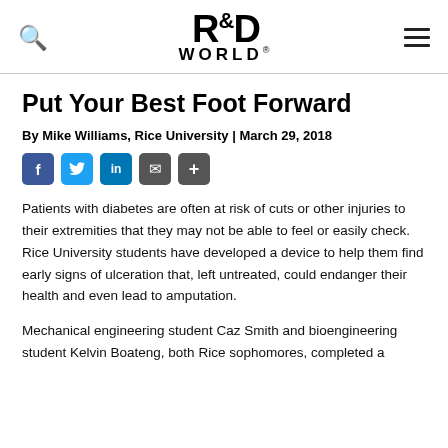R&D WORLD
Put Your Best Foot Forward
By Mike Williams, Rice University | March 29, 2018
[Figure (other): Social sharing buttons: Facebook, Twitter, LinkedIn, Email, Share]
Patients with diabetes are often at risk of cuts or other injuries to their extremities that they may not be able to feel or easily check. Rice University students have developed a device to help them find early signs of ulceration that, left untreated, could endanger their health and even lead to amputation.
Mechanical engineering student Caz Smith and bioengineering student Kelvin Boateng, both Rice sophomores, completed a